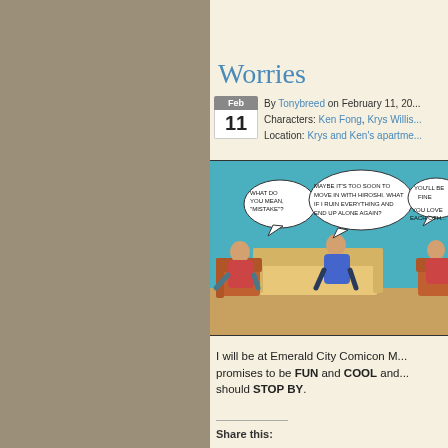Worries
By Tonybreed on February 11, 20...
Characters: Ken Fong, Krys Willis...
Location: Krys and Ken's apartme...
[Figure (illustration): Comic strip panel showing two characters on a couch and chair. Speech bubbles read: 'WHAT DO YOU MEAN, "MISTAKE"?', 'MAYBE IT'S TOO SOON TO MOVE IN WITH HIROSHI. WHAT IF I RUIN EVERYTHING AND END UP ALONE AGAIN?', 'YOU'LL BE FINE', 'YOU LOVE EACH OTH...']
I will be at Emerald City Comicon M... promises to be FUN and COOL and... should STOP BY.
Share this: